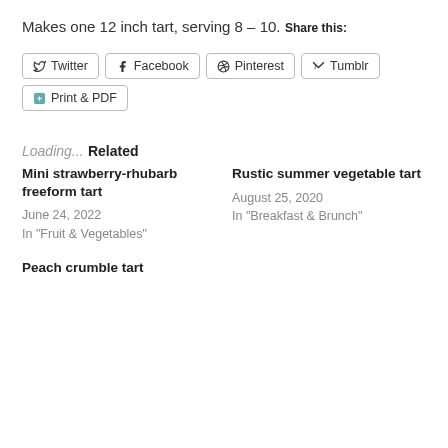Makes one 12 inch tart, serving 8 – 10.
Share this:
[Figure (screenshot): Social share buttons: Twitter, Facebook, Pinterest, Tumblr, Print & PDF]
Loading...
Related
Mini strawberry-rhubarb freeform tart
June 24, 2022
In "Fruit & Vegetables"
Rustic summer vegetable tart
August 25, 2020
In "Breakfast & Brunch"
Peach crumble tart